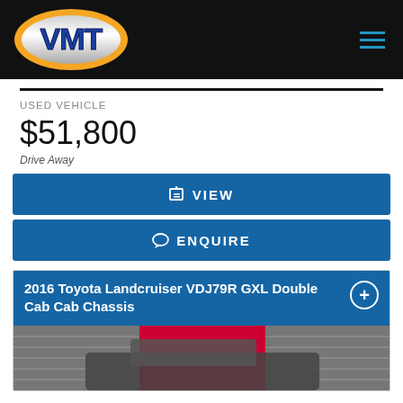VMT - Used Vehicle listings page header with navigation
USED VEHICLE
$51,800
Drive Away
VIEW
ENQUIRE
2016 Toyota Landcruiser VDJ79R GXL Double Cab Cab Chassis
[Figure (photo): Partial view of a 2016 Toyota Landcruiser VDJ79R GXL Double Cab Cab Chassis parked in front of roller doors, vehicle seen from front/side angle]